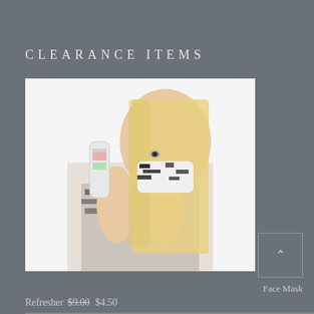CLEARANCE ITEMS
[Figure (photo): A blonde woman wearing a black and white zebra-print face mask, holding up two spray bottles of beauty/refresher products against a white background.]
Face Mask
Refresher $9.00  $4.50